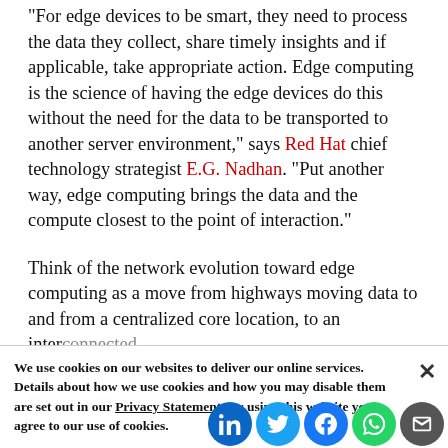“For edge devices to be smart, they need to process the data they collect, share timely insights and if applicable, take appropriate action. Edge computing is the science of having the edge devices do this without the need for the data to be transported to another server environment,” says Red Hat chief technology strategist E.G. Nadhan. “Put another way, edge computing brings the data and the compute closest to the point of interaction.”
Think of the network evolution toward edge computing as a move from highways moving data to and from a centralized core location, to an interconnected nodes of storage...
Dr. James Stange
We use cookies on our websites to deliver our online services. Details about how we use cookies and how you may disable them are set out in our Privacy Statement. By using this website you agree to our use of cookies.